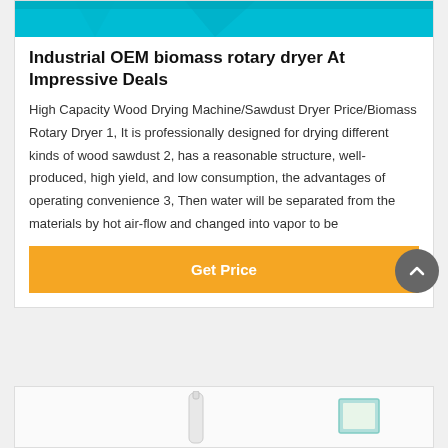[Figure (photo): Teal/cyan colored industrial biomass rotary dryer machine, cropped top portion visible]
Industrial OEM biomass rotary dryer At Impressive Deals
High Capacity Wood Drying Machine/Sawdust Dryer Price/Biomass Rotary Dryer 1, It is professionally designed for drying different kinds of wood sawdust 2, has a reasonable structure, well-produced, high yield, and low consumption, the advantages of operating convenience 3, Then water will be separated from the materials by hot air-flow and changed into vapor to be
[Figure (photo): Bottom card showing partial product images - a white bottle/dispenser and a small green framed item]